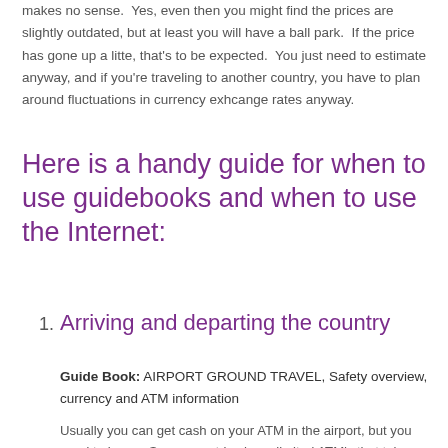makes no sense.  Yes, even then you might find the prices are slightly outdated, but at least you will have a ball park.  If the price has gone up a litte, that's to be expected.  You just need to estimate anyway, and if you're traveling to another country, you have to plan around fluctuations in currency exhcange rates anyway.
Here is a handy guide for when to use guidebooks and when to use the Internet:
Arriving and departing the country
Guide Book: AIRPORT GROUND TRAVEL, Safety overview, currency and ATM information
Usually you can get cash on your ATM in the airport, but you need to know.  Some countries have limited ATM's that take